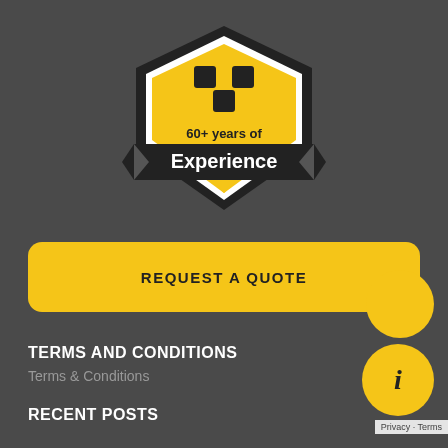[Figure (logo): Shield/badge logo with 'U' shaped blocks icon in yellow and black, text '60+ years of Experience' on a black ribbon banner]
REQUEST A QUOTE
TERMS AND CONDITIONS
Terms & Conditions
RECENT POSTS